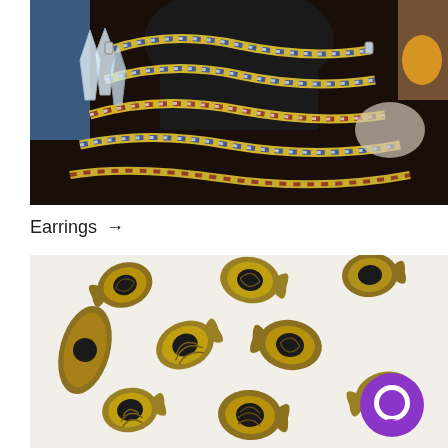[Figure (photo): Close-up photo of a colorful braided African wax print fabric necklace displayed on a black mannequin bust, with crystal quartz and decorative items in the background.]
Earrings →
[Figure (photo): Bronze/antique gold colored metal fish-shaped beads with hollow centers scattered on a white surface, with a purple chat icon overlay in the bottom right corner.]